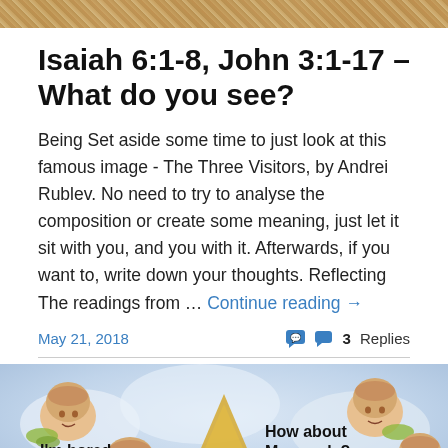[Figure (photo): Top decorative banner image with golden/mosaic texture]
Isaiah 6:1-8, John 3:1-17 – What do you see?
Being Set aside some time to just look at this famous image - The Three Visitors, by Andrei Rublev. No need to try to analyse the composition or create some meaning, just let it sit with you, and you with it. Afterwards, if you want to, write down your thoughts. Reflecting The readings from … Continue reading →
May 21, 2018
3 Replies
[Figure (photo): Bottom image showing cherub angels with humorous text overlays: 'I'm bored. What can', 'How about Monopoly?', 'Can we']